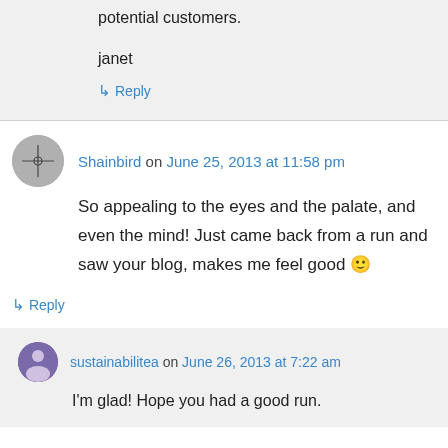potential customers.
janet
↳ Reply
Shainbird on June 25, 2013 at 11:58 pm
So appealing to the eyes and the palate, and even the mind! Just came back from a run and saw your blog, makes me feel good 🙂
↳ Reply
sustainabilitea on June 26, 2013 at 7:22 am
I'm glad! Hope you had a good run.